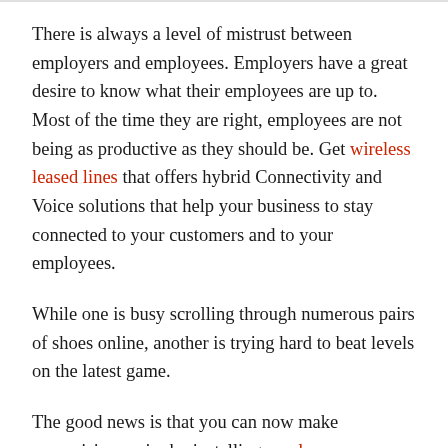There is always a level of mistrust between employers and employees. Employers have a great desire to know what their employees are up to. Most of the time they are right, employees are not being as productive as they should be. Get wireless leased lines that offers hybrid Connectivity and Voice solutions that help your business to stay connected to your customers and to your employees.
While one is busy scrolling through numerous pairs of shoes online, another is trying hard to beat levels on the latest game.
The good news is that you can now make supervision easier by installing employee monitoring software. This tool puts